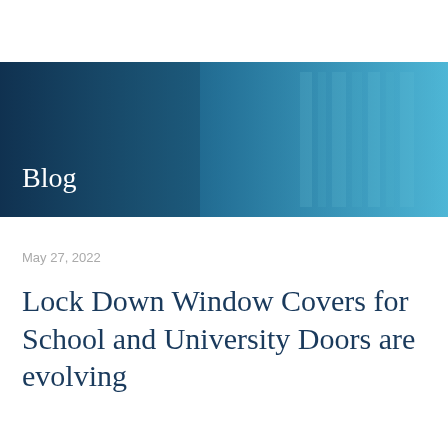[Figure (photo): Header banner image showing a person in a library or school setting with bookshelves, overlaid with a blue teal tint. The word 'Blog' appears in white text over the image.]
May 27, 2022
Lock Down Window Covers for School and University Doors are evolving